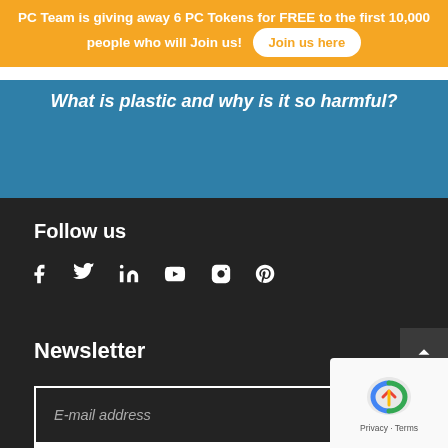PC Team is giving away 6 PC Tokens for FREE to the first 10,000 people who will Join us! Join us here
What is plastic and why is it so harmful?
Follow us
[Figure (other): Social media icons row: Facebook, Twitter, LinkedIn, YouTube, Instagram, Pinterest]
Newsletter
E-mail address
subscribe
[Figure (other): reCAPTCHA widget with Privacy and Terms links]